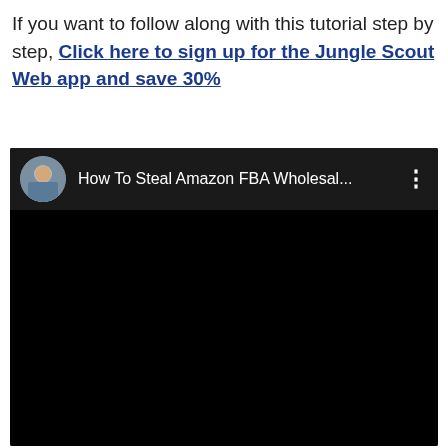If you want to follow along with this tutorial step by step, Click here to sign up for the Jungle Scout Web app and save 30%
[Figure (screenshot): YouTube video embed showing title 'How To Steal Amazon FBA Wholesal...' with channel avatar of a man, on a black background]